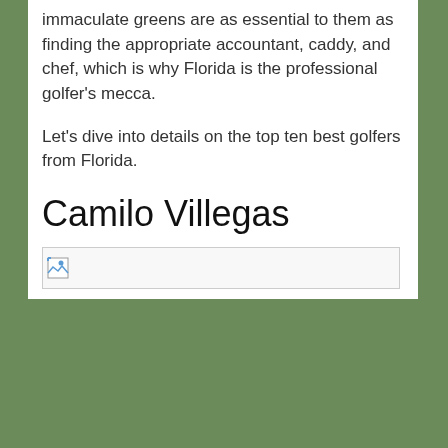immaculate greens are as essential to them as finding the appropriate accountant, caddy, and chef, which is why Florida is the professional golfer's mecca.
Let's dive into details on the top ten best golfers from Florida.
Camilo Villegas
[Figure (photo): Broken/missing image placeholder for a photo related to Camilo Villegas]